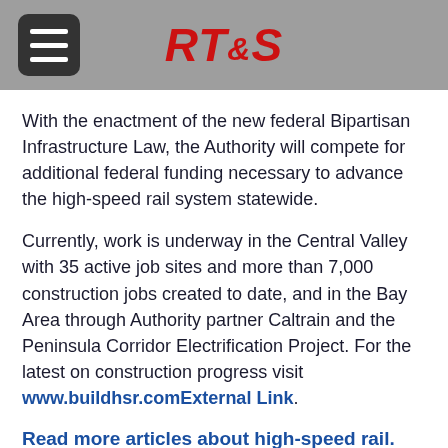RT&S
With the enactment of the new federal Bipartisan Infrastructure Law, the Authority will compete for additional federal funding necessary to advance the high-speed rail system statewide.
Currently, work is underway in the Central Valley with 35 active job sites and more than 7,000 construction jobs created to date, and in the Bay Area through Authority partner Caltrain and the Peninsula Corridor Electrification Project. For the latest on construction progress visit www.buildhsr.comExternal Link.
Read more articles about high-speed rail.